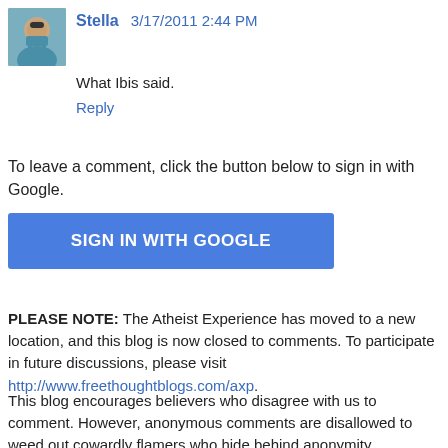Stella  3/17/2011 2:44 PM
What Ibis said.
Reply
To leave a comment, click the button below to sign in with Google.
SIGN IN WITH GOOGLE
PLEASE NOTE: The Atheist Experience has moved to a new location, and this blog is now closed to comments. To participate in future discussions, please visit http://www.freethoughtblogs.com/axp.
This blog encourages believers who disagree with us to comment. However, anonymous comments are disallowed to weed out cowardly flamers who hide behind anonymity. Commenters will only be banned when they've demonstrated they're nothing more than trolls whose behavior is